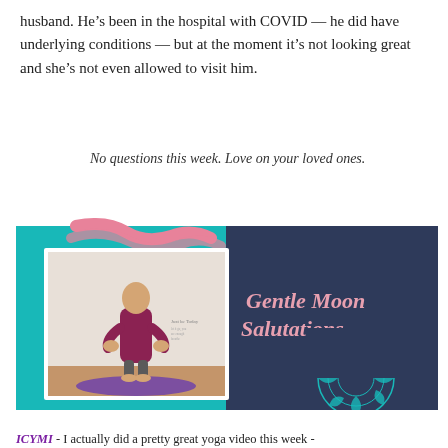husband. He’s been in the hospital with COVID — he did have underlying conditions — but at the moment it’s not looking great and she’s not even allowed to visit him.
No questions this week. Love on your loved ones.
[Figure (photo): A video thumbnail image with teal and dark navy blue background. On the left side is a photo of a woman in a maroon top and grey pants standing on a purple yoga mat. On the right side in pink cursive text reads 'Gentle Moon Salutations' with a teal mandala design at the bottom right corner. A pink decorative squiggle is visible at the top left.]
ICYMI - I actually did a pretty great yoga video this week -